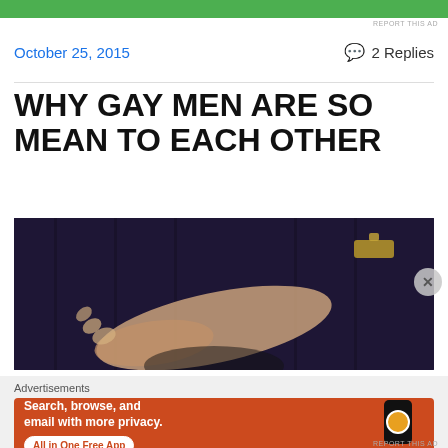REPORT THIS AD
October 25, 2015
2 Replies
WHY GAY MEN ARE SO MEAN TO EACH OTHER
[Figure (photo): A person with arms raised covering face, photographed against dark wood paneling with ornate door handles]
Advertisements
[Figure (other): DuckDuckGo advertisement banner: Search, browse, and email with more privacy. All in One Free App. Shows DuckDuckGo logo on a smartphone.]